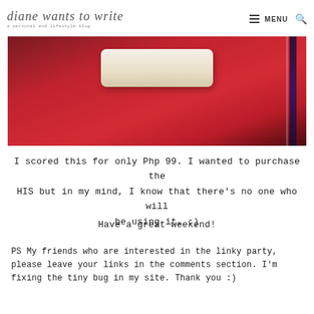diane wants to write – a personal and lifestyle blog | MENU
[Figure (photo): A white rectangular pillow on a red surface with a dark purple/navy stripe on the right side]
I scored this for only Php 99. I wanted to purchase the HIS but in my mind, I know that there's no one who will be using it. :)
Have a great weekend!
PS My friends who are interested in the linky party, please leave your links in the comments section. I'm fixing the tiny bug in my site. Thank you :)